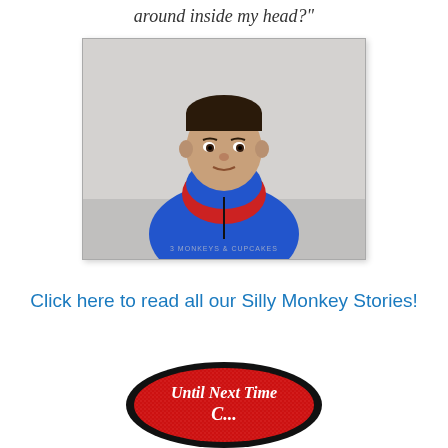around inside my head?"
[Figure (photo): Portrait photo of a young boy wearing a blue and red hooded jacket, smiling slightly, indoor background with watermark text at bottom]
Click here to read all our Silly Monkey Stories!
[Figure (illustration): Red glittery oval badge/logo with black border and cursive white text reading 'Until Next Time']